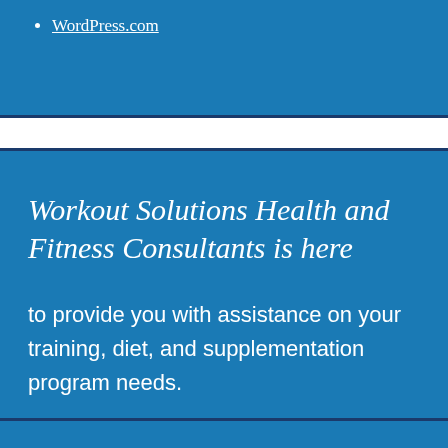WordPress.com
Workout Solutions Health and Fitness Consultants is here
to provide you with assistance on your training, diet, and supplementation program needs.